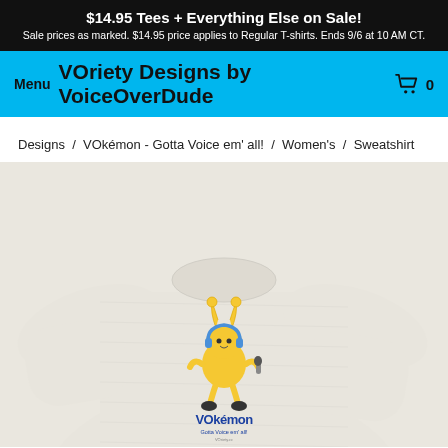$14.95 Tees + Everything Else on Sale! Sale prices as marked. $14.95 price applies to Regular T-shirts. Ends 9/6 at 10 AM CT.
VOriety Designs by VoiceOverDude
Menu
0
Designs / VOkémon - Gotta Voice em' all! / Women's / Sweatshirt
[Figure (photo): Light grey heather crewneck sweatshirt on a model, featuring a cartoon yellow Pokemon-like character wearing headphones and holding a microphone, with the text 'VOkémon' and 'Gotta Voice em' all!' printed on the chest area.]